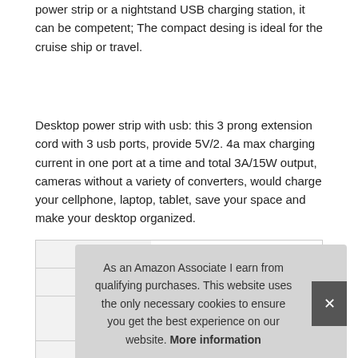power strip or a nightstand USB charging station, it can be competent; The compact desing is ideal for the cruise ship or travel.
Desktop power strip with usb: this 3 prong extension cord with 3 usb ports, provide 5V/2. 4a max charging current in one port at a time and total 3A/15W output, cameras without a variety of converters, would charge your cellphone, laptop, tablet, save your space and make your desktop organized.
|  |  |
| --- | --- |
| Brand | TESSAN #ad |
| Manufacturer | TESSAN #ad |
| Part Number | TS-102-1 |
As an Amazon Associate I earn from qualifying purchases. This website uses the only necessary cookies to ensure you get the best experience on our website. More information